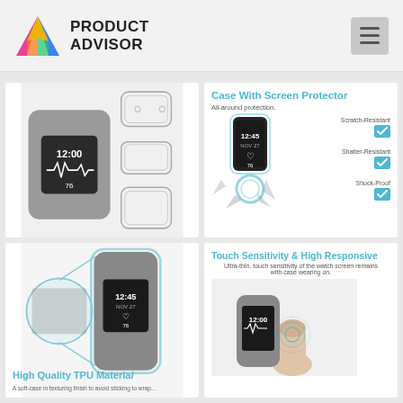[Figure (logo): Product Advisor logo with colorful triangle/A shape and bold text PRODUCT ADVISOR]
[Figure (photo): Fitbit Charge 2 smartwatch with gray band showing 12:00, alongside three exploded clear TPU case shell diagrams]
[Figure (infographic): Case With Screen Protector - All-around protection. Shows Fitbit device exploding impact, with checkmarks for Scratch-Resistant, Shatter-Resistant, Shock-Proof]
[Figure (photo): High Quality TPU Material - closeup of transparent case on Fitbit showing 12:45 NOV 27 with circle magnification detail]
[Figure (photo): Touch Sensitivity & High Responsive - Ultra-thin, touch sensitivity of the watch screen remains with case wearing on. Hand touching Fitbit showing 12:00]